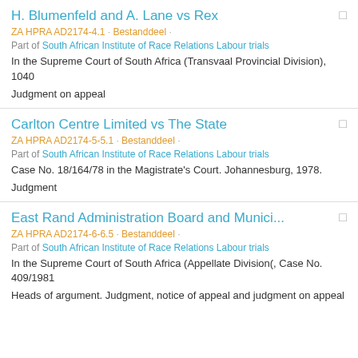H. Blumenfeld and A. Lane vs Rex
ZA HPRA AD2174-4.1 · Bestanddeel ·
Part of South African Institute of Race Relations Labour trials
In the Supreme Court of South Africa (Transvaal Provincial Division), 1040
Judgment on appeal
Carlton Centre Limited vs The State
ZA HPRA AD2174-5-5.1 · Bestanddeel ·
Part of South African Institute of Race Relations Labour trials
Case No. 18/164/78 in the Magistrate's Court. Johannesburg, 1978.
Judgment
East Rand Administration Board and Munici...
ZA HPRA AD2174-6-6.5 · Bestanddeel ·
Part of South African Institute of Race Relations Labour trials
In the Supreme Court of South Africa (Appellate Division(, Case No. 409/1981
Heads of argument. Judgment, notice of appeal and judgment on appeal